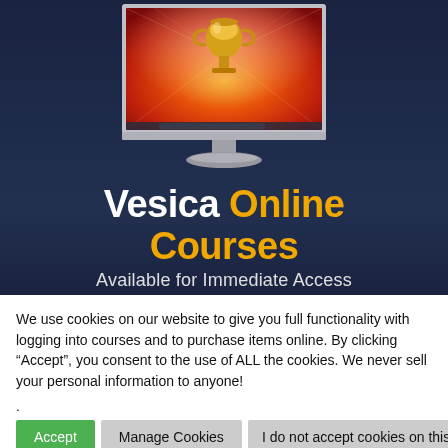[Figure (screenshot): iMac monitor displaying a golden trophy on a fiery orange/red background, shown against a dark navy blue background]
Vesica Online Courses
Available for Immediate Access
We use cookies on our website to give you full functionality with logging into courses and to purchase items online. By clicking “Accept”, you consent to the use of ALL the cookies. We never sell your personal information to anyone!
.
Accept | Manage Cookies | I do not accept cookies on this sit